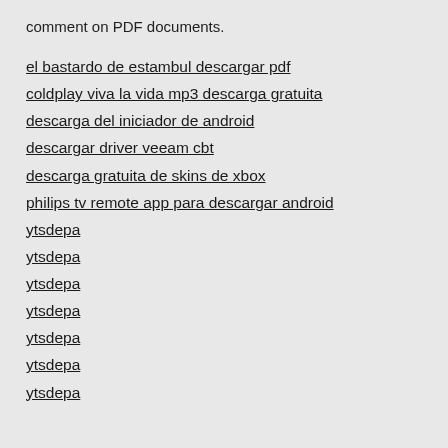comment on PDF documents.
el bastardo de estambul descargar pdf
coldplay viva la vida mp3 descarga gratuita
descarga del iniciador de android
descargar driver veeam cbt
descarga gratuita de skins de xbox
philips tv remote app para descargar android
ytsdepa
ytsdepa
ytsdepa
ytsdepa
ytsdepa
ytsdepa
ytsdepa